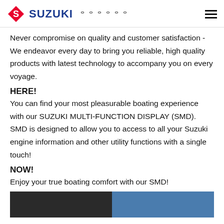SUZUKI [Japanese characters] [hamburger menu]
Never compromise on quality and customer satisfaction - We endeavor every day to bring you reliable, high quality products with latest technology to accompany you on every voyage.
HERE!
You can find your most pleasurable boating experience with our SUZUKI MULTI-FUNCTION DISPLAY (SMD). SMD is designed to allow you to access to all your Suzuki engine information and other utility functions with a single touch!
NOW!
Enjoy your true boating comfort with our SMD!
[Figure (photo): Two partial photos at bottom of page - left appears to be a dark/night marine scene, right appears to be a blue water/boating scene]